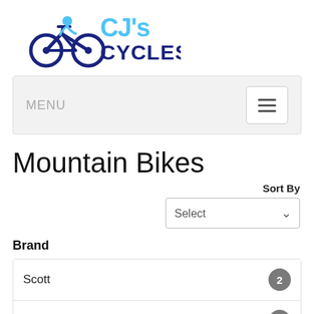[Figure (logo): CJ's Cycles logo with bicycle icon and blue text]
MENU
Mountain Bikes
Sort By
Brand
Scott 2
probike 5
python 4
COYOTE